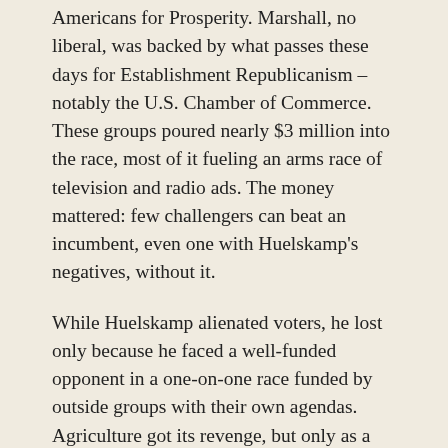Americans for Prosperity. Marshall, no liberal, was backed by what passes these days for Establishment Republicanism – notably the U.S. Chamber of Commerce. These groups poured nearly $3 million into the race, most of it fueling an arms race of television and radio ads. The money mattered: few challengers can beat an incumbent, even one with Huelskamp's negatives, without it.
While Huelskamp alienated voters, he lost only because he faced a well-funded opponent in a one-on-one race funded by outside groups with their own agendas. Agriculture got its revenge, but only as a result of that larger war within the Republican Party.
Christopher Bosso is professor of public policy at Northeastern University. His areas of interest include food and environmental policy, science and technology policy, and the governance of emerging technologies.